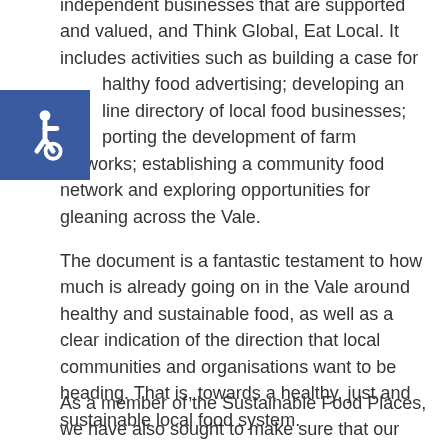independent businesses that are supported and valued, and Think Global, Eat Local. It includes activities such as building a case for healthy food advertising; developing an online directory of local food businesses; supporting the development of farm networks; establishing a community food network and exploring opportunities for gleaning across the Vale.
[Figure (illustration): Blue square accessibility icon showing wheelchair user symbol in white]
The document is a fantastic testament to how much is already going on in the Vale around healthy and sustainable food, as well as a clear indication of the direction that local communities and organisations want to be heading. That is, towards a healthy, just and sustainable local food system.
As a member of the Sustainable Food Places, we have also sought to make sure that our plan of action covers the breadth of issues identified in the Sustainable Food Places Framework.